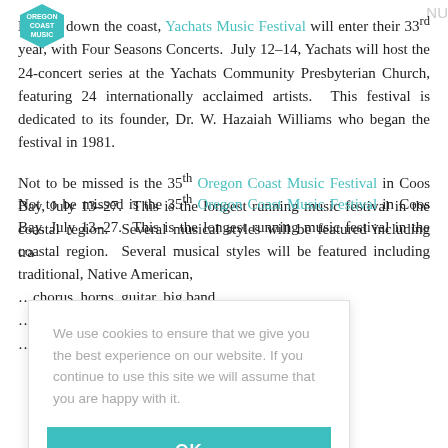Not far down the coast, Yachats Music Festival will enter their 33rd year, with Four Seasons Concerts. July 12-14, Yachats will host the 24-concert series at the Yachats Community Presbyterian Church, featuring 24 internationally acclaimed artists. This festival is dedicated to its founder, Dr. W. Hazaiah Williams who began the festival in 1981.
Not to be missed is the 35th Oregon Coast Music Festival in Coos Bay, July 13-27. This is the longest running music festival in the coastal region. Several musical styles will [be featured including traditional, Native American, ...chorus, horns, guitar, big band, ...Coos Bay has it all and if that were ...come for the refreshments and
We use cookies to ensure that we give you the best experience on our website. If you continue to use this site we will assume that you are happy with it.
OK